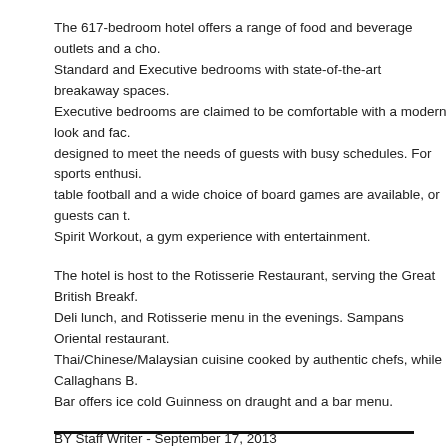The 617-bedroom hotel offers a range of food and beverage outlets and a cho. Standard and Executive bedrooms with state-of-the-art breakaway spaces. Executive bedrooms are claimed to be comfortable with a modern look and fac. designed to meet the needs of guests with busy schedules. For sports enthusi. table football and a wide choice of board games are available, or guests can t. Spirit Workout, a gym experience with entertainment.
The hotel is host to the Rotisserie Restaurant, serving the Great British Breakf. Deli lunch, and Rotisserie menu in the evenings. Sampans Oriental restaurant Thai/Chinese/Malaysian cuisine cooked by authentic chefs, while Callaghans Bar offers ice cold Guinness on draught and a bar menu.
BY Staff Writer - September 17, 2013
Related Articles
Hotels